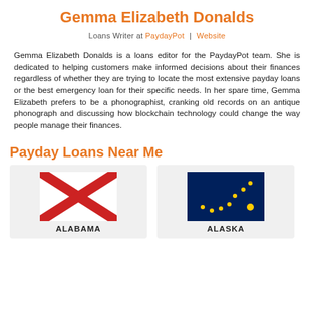Gemma Elizabeth Donalds
Loans Writer at PaydayPot | Website
Gemma Elizabeth Donalds is a loans editor for the PaydayPot team. She is dedicated to helping customers make informed decisions about their finances regardless of whether they are trying to locate the most extensive payday loans or the best emergency loan for their specific needs. In her spare time, Gemma Elizabeth prefers to be a phonographist, cranking old records on an antique phonograph and discussing how blockchain technology could change the way people manage their finances.
Payday Loans Near Me
[Figure (illustration): Alabama state flag: red X cross on white background]
ALABAMA
[Figure (illustration): Alaska state flag: blue background with gold stars forming Big Dipper and North Star]
ALASKA